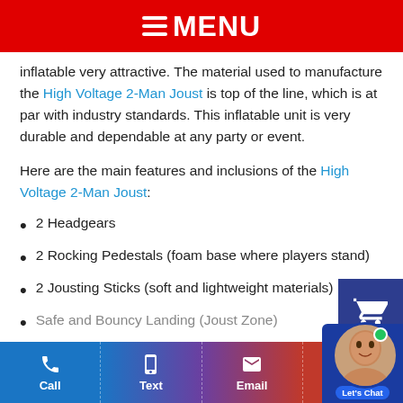≡ MENU
inflatable very attractive. The material used to manufacture the High Voltage 2-Man Joust is top of the line, which is at par with industry standards. This inflatable unit is very durable and dependable at any party or event.
Here are the main features and inclusions of the High Voltage 2-Man Joust:
2 Headgears
2 Rocking Pedestals (foam base where players stand)
2 Jousting Sticks (soft and lightweight materials)
Safe and Bouncy Landing (Joust Zone)
Call | Text | Email | Cart | Let's Chat